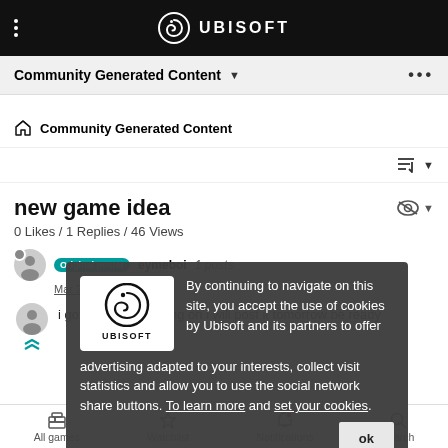UBISOFT
Community Generated Content
Community Generated Content
new game idea
0 Likes / 1 Replies / 46 Views
Original poster eymeboi 1 posts
Mar 22, 2022, 3:23 AM
i got a project working on i will post it tomorrow be ready
[Figure (screenshot): Cookie consent overlay with Ubisoft logo, text about cookies and partner advertising, links to 'To learn more' and 'set your cookies', and an OK button.]
All games  Watchlist  Notifications  Search